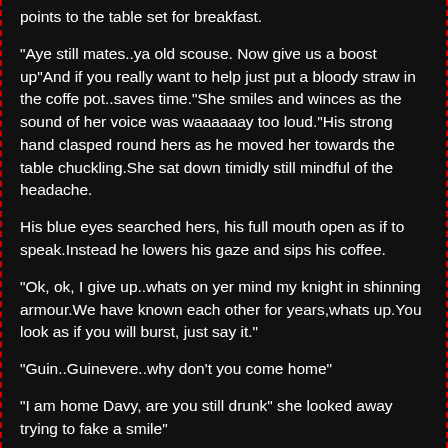points to the table set for breakfast.
"Aye still mates..ya old scouse. Now give us a boost up"And if you really want to help just put a bloody straw in the coffe pot..saves time."She smiles and winces as the sound of her voice was waaaaaay too loud."His strong hand clasped round hers as he moved her towards the table chuckling.She sat down timidly still mindful of the headache.
His blue eyes searched hers, his full mouth open as if to speak.Instead he lowers his gaze and sips his coffee.
"Ok, ok, I give up..whats on yer mind my knight in shinning armour.We have known each other for years,whats up.You look as if you will burst, just say it."
"Guin..Guinevere..why don't you come home"
"I am home Davy, are you still drunk" she looked away trying to fake a smile"